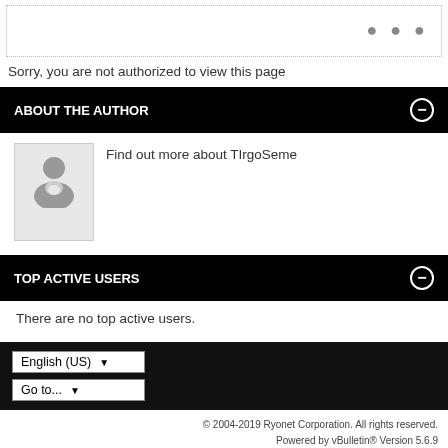Sorry, you are not authorized to view this page
ABOUT THE AUTHOR
[Figure (photo): Generic user avatar placeholder image - grey silhouette of a person on light grey background]
Find out more about TIrgoSeme
TOP ACTIVE USERS
There are no top active users.
English (US) dropdown, Go to... dropdown, © 2004-2019 Ryonet Corporation. All rights reserved. Powered by vBulletin® Version 5.6.9 Copyright © 2022 vBulletin Solutions, Inc. All rights reserved. All times are GMT-8. This page was generated at 11:43 PM.